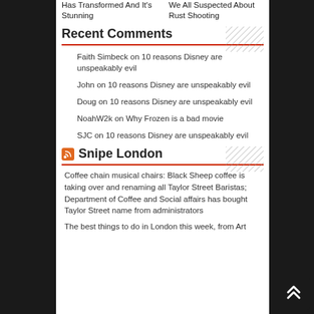Has Transformed And It's Stunning
We All Suspected About Rust Shooting
Recent Comments
Faith Simbeck on 10 reasons Disney are unspeakably evil
John on 10 reasons Disney are unspeakably evil
Doug on 10 reasons Disney are unspeakably evil
NoahW2k on Why Frozen is a bad movie
SJC on 10 reasons Disney are unspeakably evil
Snipe London
Coffee chain musical chairs: Black Sheep coffee is taking over and renaming all Taylor Street Baristas; Department of Coffee and Social affairs has bought Taylor Street name from administrators
The best things to do in London this week, from Art